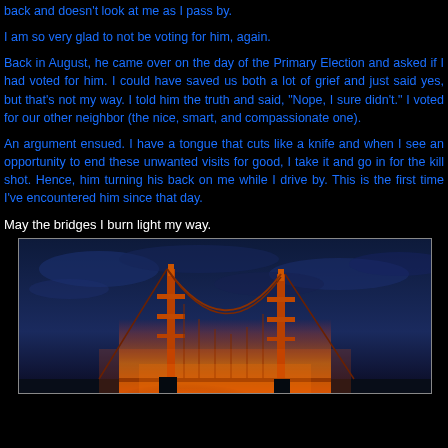back and doesn't look at me as I pass by.
I am so very glad to not be voting for him, again.
Back in August, he came over on the day of the Primary Election and asked if I had voted for him. I could have saved us both a lot of grief and just said yes, but that's not my way. I told him the truth and said, "Nope, I sure didn't." I voted for our other neighbor (the nice, smart, and compassionate one).
An argument ensued. I have a tongue that cuts like a knife and when I see an opportunity to end these unwanted visits for good, I take it and go in for the kill shot. Hence, him turning his back on me while I drive by. This is the first time I've encountered him since that day.
May the bridges I burn light my way.
[Figure (photo): A nighttime photo of a bridge (resembling the Golden Gate Bridge) with orange glowing fire/light at its base, set against a dark blue cloudy sky.]